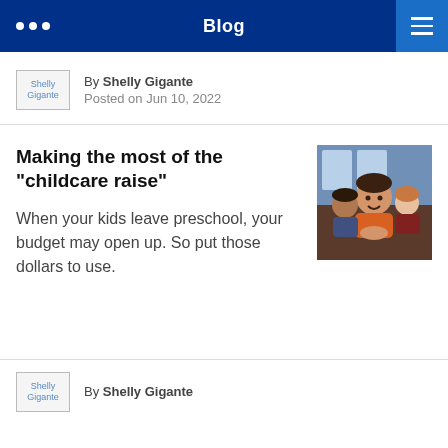Blog
By Shelly Gigante
Posted on Jun 10, 2022
Making the most of the "childcare raise"
When your kids leave preschool, your budget may open up. So put those dollars to use.
[Figure (photo): Children sitting in a classroom, smiling]
By Shelly Gigante